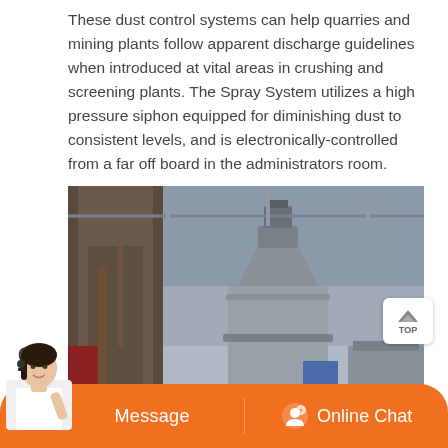These dust control systems can help quarries and mining plants follow apparent discharge guidelines when introduced at vital areas in crushing and screening plants. The Spray System utilizes a high pressure siphon equipped for diminishing dust to consistent levels, and is electronically-controlled from a far off board in the administrators room.
[Figure (photo): Industrial dust control equipment in a factory/plant setting showing large cylindrical machinery, pipes, and a cone-shaped dust collector unit inside a metal-roofed building.]
Message
Online Chat